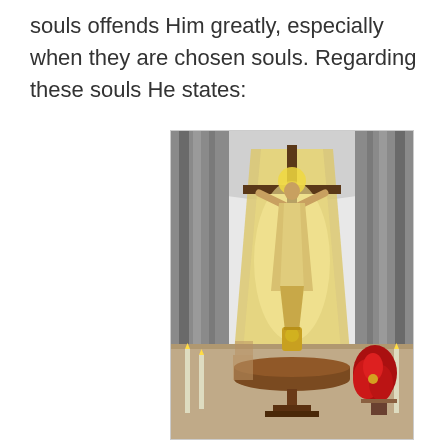souls offends Him greatly, especially when they are chosen souls. Regarding these souls He states:
[Figure (photo): Church altar with a large risen Christ statue mounted on a cross, flanked by gray curtains. The figure is gold/cream colored with arms raised. Below is an altar table with a tabernacle, candles on either side, and red poinsettias on the right.]